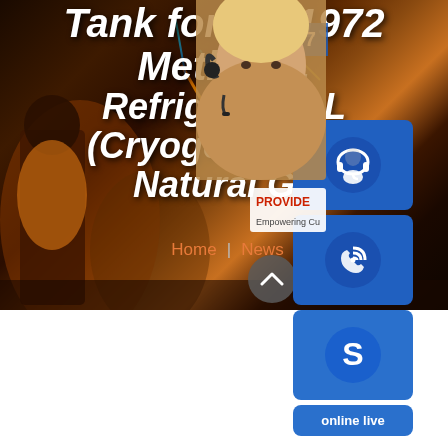Tank for Un 1972 Methane, Refrigerated L (Cryogenic Liqu Natural Ga
Home | News
[Figure (screenshot): Website banner overlay with customer service chat widget showing headset icon, phone icon, Skype icon, PROVIDE Empowering Customers text, and 'online live' button. Background shows dark atmospheric street scene with neon lights. Text '24/7' visible on blue overlay panel.]